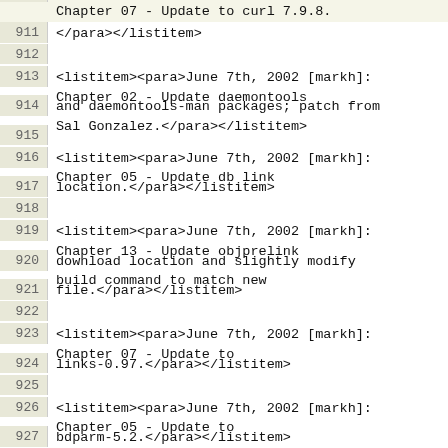Chapter 07 - Update to curl 7.9.8.
911  </para></listitem>
912  (empty)
913  <listitem><para>June 7th, 2002 [markh]: Chapter 02 - Update daemontools
914  and daemontools-man packages; patch from Sal Gonzalez.</para></listitem>
915  (empty)
916  <listitem><para>June 7th, 2002 [markh]: Chapter 05 - Update db link
917  location.</para></listitem>
918  (empty)
919  <listitem><para>June 7th, 2002 [markh]: Chapter 13 - Update objprelink
920  download location and slightly modify build command to match new
921  file.</para></listitem>
922  (empty)
923  <listitem><para>June 7th, 2002 [markh]: Chapter 07 - Update to
924  links-0.97.</para></listitem>
925  (empty)
926  <listitem><para>June 7th, 2002 [markh]: Chapter 05 - Update to
927  bdparm-5.2.</para></listitem>